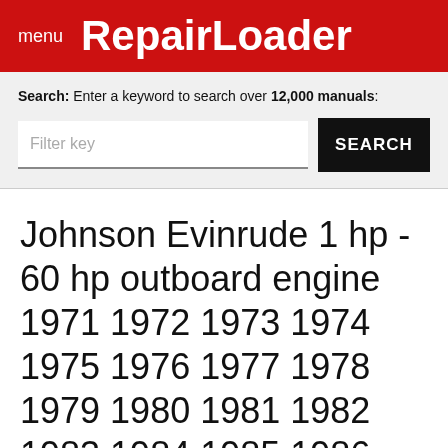menu RepairLoader
Search: Enter a keyword to search over 12,000 manuals:
Johnson Evinrude 1 hp - 60 hp outboard engine 1971 1972 1973 1974 1975 1976 1977 1978 1979 1980 1981 1982 1983 1984 1985 1986 1987 1988 1989 service manual download 0*##